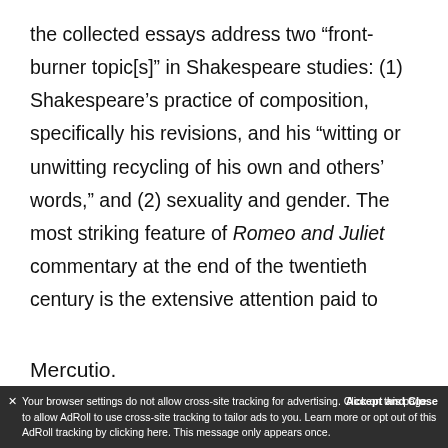the collected essays address two “front-burner topic[s]” in Shakespeare studies: (1) Shakespeare’s practice of composition, specifically his revisions, and his “witting or unwitting recycling of his own and others’ words,” and (2) sexuality and gender. The most striking feature of Romeo and Juliet commentary at the end of the twentieth century is the extensive attention paid to Mercutio.
Your browser settings do not allow cross-site tracking for advertising. Click on this page to allow AdRoll to use cross-site tracking to tailor ads to you. Learn more or opt out of this AdRoll tracking by clicking here. This message only appears once.